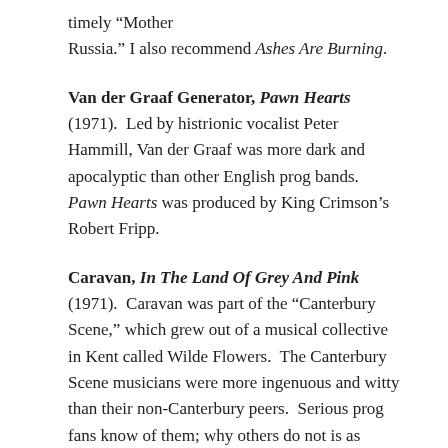timely "Mother Russia." I also recommend Ashes Are Burning.
Van der Graaf Generator, Pawn Hearts (1971). Led by histrionic vocalist Peter Hammill, Van der Graaf was more dark and apocalyptic than other English prog bands. Pawn Hearts was produced by King Crimson's Robert Fripp.
Caravan, In The Land Of Grey And Pink (1971). Caravan was part of the "Canterbury Scene," which grew out of a musical collective in Kent called Wilde Flowers. The Canterbury Scene musicians were more ingenuous and witty than their non-Canterbury peers. Serious prog fans know of them; why others do not is as mysterious as why David Crosby is still alive.